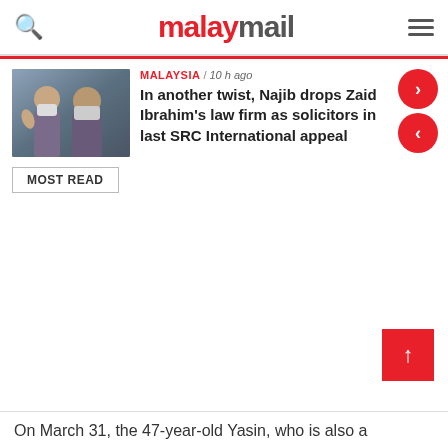malaymail
MALAYSIA / 10 h ago
In another twist, Najib drops Zaid Ibrahim's law firm as solicitors in last SRC International appeal
MOST READ
On March 31, the 47-year-old Yasin, who is also a